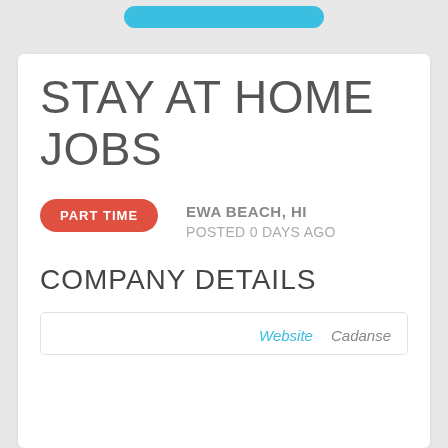[Figure (other): Blue rounded button/banner at top of page]
STAY AT HOME JOBS
PART TIME
EWA BEACH, HI
POSTED 0 DAYS AGO
COMPANY DETAILS
Website   Cadanse